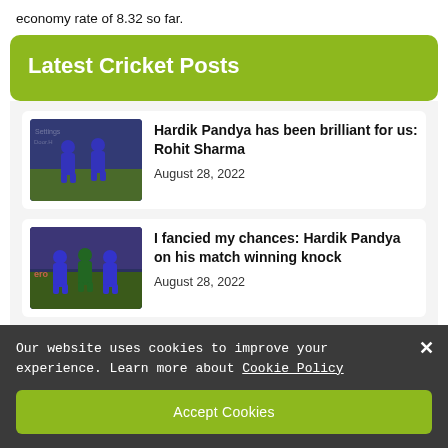economy rate of 8.32 so far.
Latest Cricket Posts
[Figure (photo): Cricket players in blue jerseys on field]
Hardik Pandya has been brilliant for us: Rohit Sharma
August 28, 2022
[Figure (photo): Cricket players standing together on field]
I fancied my chances: Hardik Pandya on his match winning knock
August 28, 2022
Our website uses cookies to improve your experience. Learn more about Cookie Policy
Accept Cookies